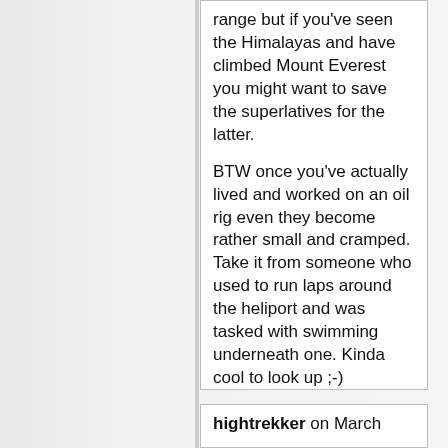range but if you've seen the Himalayas and have climbed Mount Everest you might want to save the superlatives for the latter.

BTW once you've actually lived and worked on an oil rig even they become rather small and cramped.
Take it from someone who used to run laps around the heliport and was tasked with swimming underneath one. Kinda cool to look up ;-)
hightrekker on March